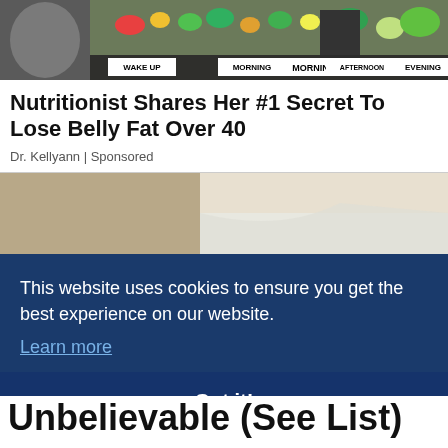[Figure (photo): Top banner image showing food items arranged by time of day: Wake Up, Morning, Afternoon, Evening labels visible with fruits, vegetables, and drinks]
Nutritionist Shares Her #1 Secret To Lose Belly Fat Over 40
Dr. Kellyann | Sponsored
[Figure (photo): Man painting a wall white in a beige room, seen from behind, with a cookie consent banner overlaid]
This website uses cookies to ensure you get the best experience on our website.
Learn more
Got it!
Unbelievable (See List)